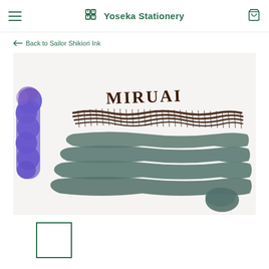Yoseka Stationery
← Back to Sailor Shikiori Ink
[Figure (photo): Ink swatch photo showing a teal/gray ink swatch labeled 'MIRUAI' written in dark brown ink, with a purple ink swatch visible on the left side, on white paper background]
[Figure (photo): Thumbnail image of ink swatch, shown with green border indicating selected state]